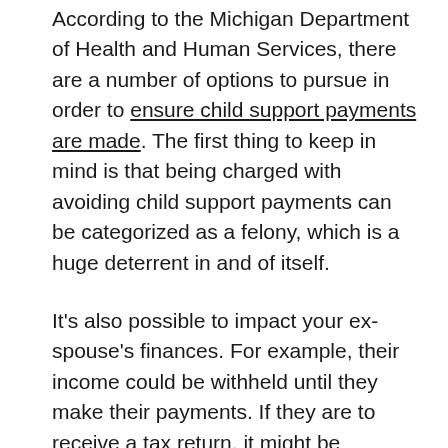According to the Michigan Department of Health and Human Services, there are a number of options to pursue in order to ensure child support payments are made. The first thing to keep in mind is that being charged with avoiding child support payments can be categorized as a felony, which is a huge deterrent in and of itself.
It's also possible to impact your ex-spouse's finances. For example, their income could be withheld until they make their payments. If they are to receive a tax return, it might be intercepted. Their personal property might have a lien placed on it.
You could also work to restrict their movements. Any license they have could be suspended until